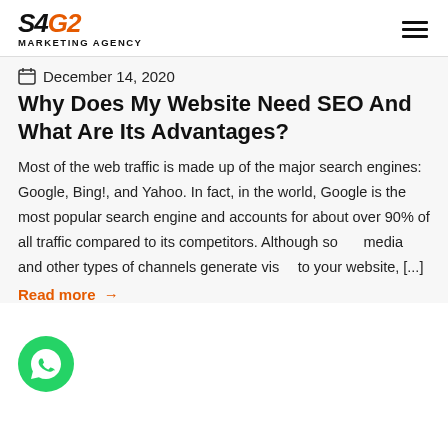[Figure (logo): S4G2 Marketing Agency logo with orange G2 and black S4 italic text, hamburger menu icon on the right]
December 14, 2020
Why Does My Website Need SEO And What Are Its Advantages?
Most of the web traffic is made up of the major search engines: Google, Bing!, and Yahoo. In fact, in the world, Google is the most popular search engine and accounts for about over 90% of all traffic compared to its competitors. Although social media and other types of channels generate visits to your website, [...]
Read more →